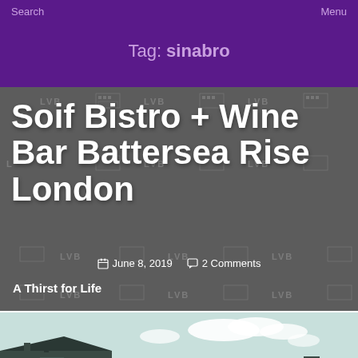Search    Menu
Tag: sinabro
Soif Bistro + Wine Bar Battersea Rise London
June 8, 2019   2 Comments
A Thirst for Life
[Figure (photo): Bottom strip of a vintage photograph showing a building rooftop and sky with clouds]